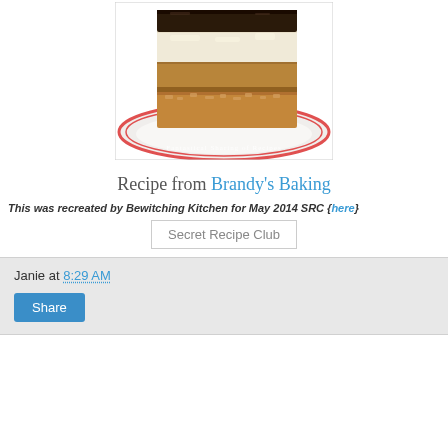[Figure (photo): Photo of a layered dessert bar with chocolate top layer, cream cheese filling, and crunchy base on a white plate with red-striped rim. Watermark text: 'Fantastical Sharing of Recipes']
Recipe from Brandy's Baking
This was recreated by Bewitching Kitchen for May 2014 SRC {here}
[Figure (other): Secret Recipe Club badge image placeholder]
Janie at 8:29 AM
Share